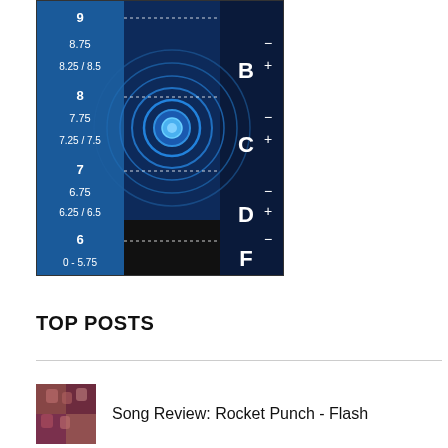[Figure (infographic): A scoring scale diagram with a dark blue and black background. Shows numeric scores from 0-5.75 at the bottom up to 9 at the top, with letter grades B, C, D, F on the right side. A target/bullseye graphic with concentric circles and a glowing blue center dot is shown in the middle. Plus and minus symbols appear on the far right. Dotted lines separate score ranges.]
TOP POSTS
[Figure (photo): Small thumbnail image of Rocket Punch group photo with pink/red tones]
Song Review: Rocket Punch - Flash